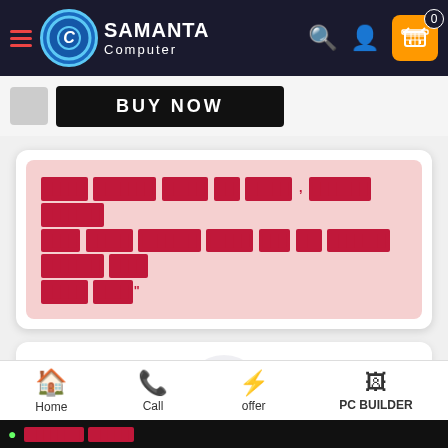Samanta Computer - navigation header with logo, search, user, and cart icons
BUY NOW
[Bengali review text - redacted/unreadable content in red on pink background]
[Figure (illustration): Customer support agent icon with headset - grey circular headset and female figure in pink]
Home | Call | offer | PC BUILDER - bottom navigation bar with ticker text